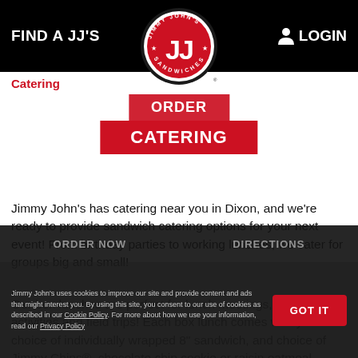FIND A JJ'S   LOGIN
Catering
[Figure (logo): Jimmy John's Sandwiches circular logo with red and black colors, JJ initials in center]
ORDER CATERING
Jimmy John's has catering near you in Dixon, and we're ready to provide sandwich catering options for your next event! From birthday parties to working lunches, we cater for groups big and small!
Our box lunches are perfect for lunch meetings, after-school activities and field trips! Each box lunch comes with your choice of individually wrapped 8” sandwich, and choice of Jimmy Chips®, chocolate chip cookie or raisin oatmeal cookie and a pickle spear.
ORDER NOW   DIRECTIONS
Jimmy John's uses cookies to improve our site and provide content and ads that might interest you. By using this site, you consent to our use of cookies as described in our Cookie Policy. For more about how we use your information, read our Privacy Policy